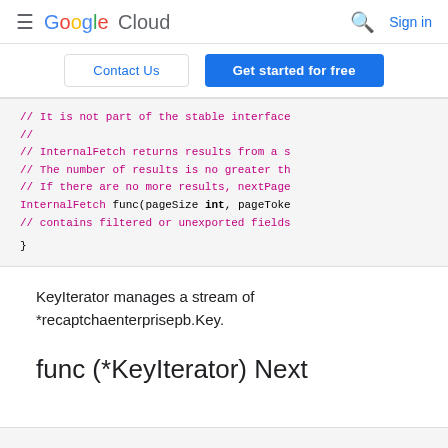Google Cloud  Sign in
Contact Us   Get started for free
[Figure (screenshot): Code block showing Go interface snippet with comments about InternalFetch and a closing brace. Comments in magenta/pink, keywords in bold black, identifiers in blue.]
KeyIterator manages a stream of *recaptchaenterprisepb.Key.
func (*KeyIterator) Next